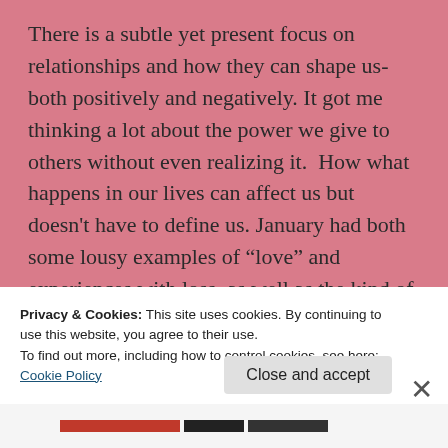There is a subtle yet present focus on relationships and how they can shape us- both positively and negatively. It got me thinking a lot about the power we give to others without even realizing it.  How what happens in our lives can affect us but doesn’t have to define us. January had both some lousy examples of “love” and experiences with loss, as well as the kind of love that is selfless and pure.

The writing was astounding. This story is so vast, yet
Privacy & Cookies: This site uses cookies. By continuing to use this website, you agree to their use.
To find out more, including how to control cookies, see here: Cookie Policy
Close and accept